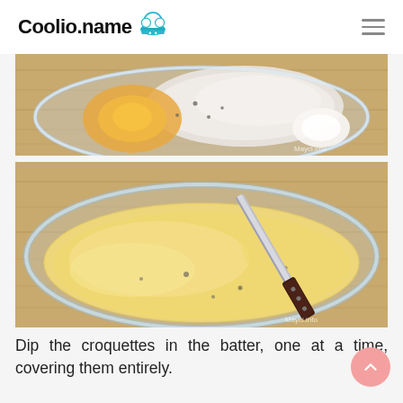Coolio.name
[Figure (photo): A glass bowl on a wooden surface containing dry flour and other batter ingredients before mixing, with a watermark reading Mayci.info]
[Figure (photo): A glass bowl on a wooden surface containing smooth yellow batter being mixed with a knife/spatula, with a watermark reading Mayci.info]
Dip the croquettes in the batter, one at a time, covering them entirely.